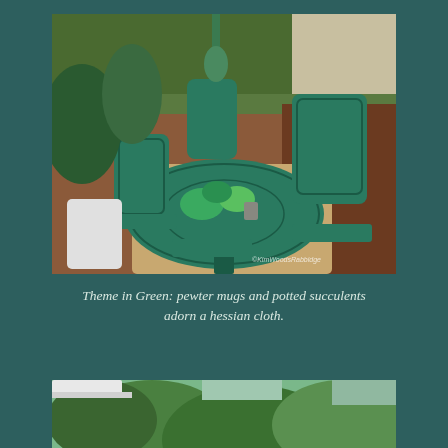[Figure (photo): Outdoor garden setting with a round ornate green cast-iron table and matching chairs surrounded by garden beds. Potted succulents and plants arranged on the table, with a watermark reading ©KimWoodsRabbidge.]
Theme in Green: pewter mugs and potted succulents adorn a hessian cloth.
[Figure (photo): Partial view of a lush green garden with trees and a white railing or roof edge visible at the top left.]